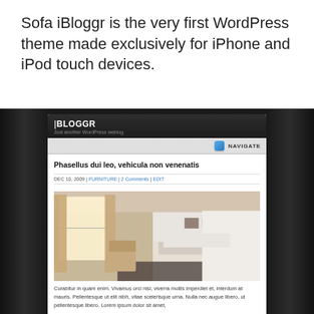Sofa iBloggr is the very first WordPress theme made exclusively for iPhone and iPod touch devices.
[Figure (screenshot): Screenshot of the iBloggr WordPress theme displayed on an iPhone-style device against a dark/black background. The theme shows a blog header with 'BLOGGR' title, a NAVIGATE button, a blog post titled 'Phasellus dui leo, vehicula non venenatis' dated DEC 10, 2009, with categories FURNITURE, 2 Comments, EDIT, a bedroom interior photo, and lorem ipsum body text.]